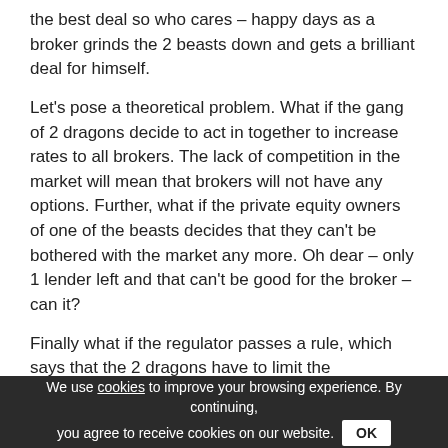the best deal so who cares – happy days as a broker grinds the 2 beasts down and gets a brilliant deal for himself.
Let's pose a theoretical problem. What if the gang of 2 dragons decide to act in together to increase rates to all brokers. The lack of competition in the market will mean that brokers will not have any options. Further, what if the private equity owners of one of the beasts decides that they can't be bothered with the market any more. Oh dear – only 1 lender left and that can't be good for the broker – can it?
Finally what if the regulator passes a rule, which says that the 2 dragons have to limit the commissions brokers can earn from their premium finance business ( by the way, this is coming from the regulator) – with the limited competition what options will the broker have? None!
We need some knights to fight the good fight, but the dragons
We use cookies to improve your browsing experience. By continuing, you agree to receive cookies on our website. OK